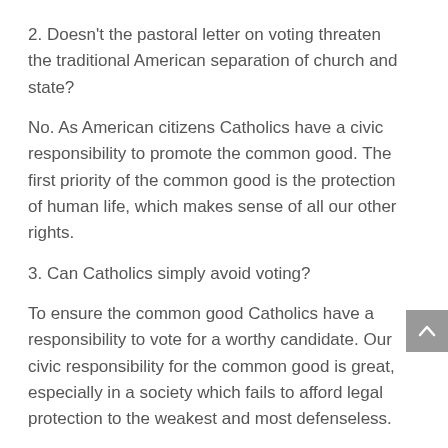2. Doesn’t the pastoral letter on voting threaten the traditional American separation of church and state?
No. As American citizens Catholics have a civic responsibility to promote the common good. The first priority of the common good is the protection of human life, which makes sense of all our other rights.
3. Can Catholics simply avoid voting?
To ensure the common good Catholics have a responsibility to vote for a worthy candidate. Our civic responsibility for the common good is great, especially in a society which fails to afford legal protection to the weakest and most defenseless.
4. What do pro-life issues have to do with politics? Isn’t this legislating morality?